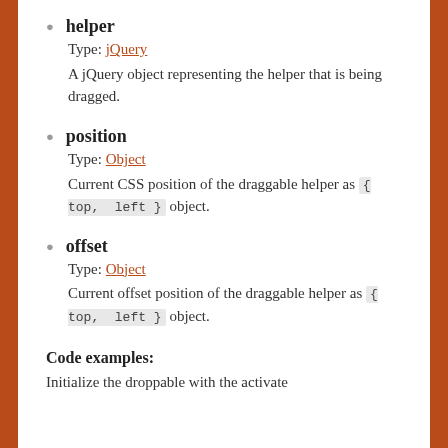helper
Type: jQuery
A jQuery object representing the helper that is being dragged.
position
Type: Object
Current CSS position of the draggable helper as { top, left } object.
offset
Type: Object
Current offset position of the draggable helper as { top, left } object.
Code examples:
Initialize the droppable with the activate